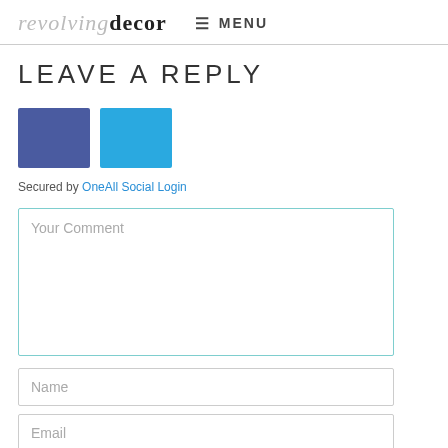revolvingdecor ☰ MENU
LEAVE A REPLY
[Figure (other): Two social login buttons: Facebook (dark blue) and Twitter/social (light blue)]
Secured by OneAll Social Login
Your Comment
Name
Email